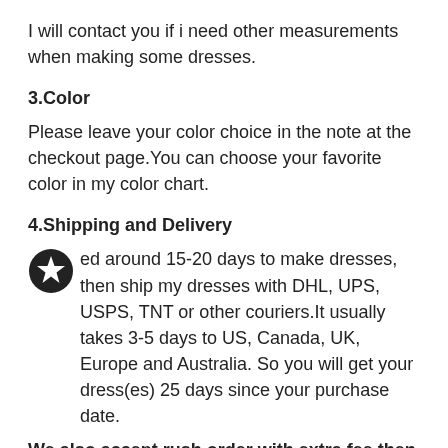I will contact you if i need other measurements when making some dresses.
3.Color
Please leave your color choice in the note at the checkout page.You can choose your favorite color in my color chart.
4.Shipping and Delivery
ed around 15-20 days to make dresses, then ship my dresses with DHL, UPS, USPS, TNT or other couriers.It usually takes 3-5 days to US, Canada, UK, Europe and Australia. So you will get your dress(es) 25 days since your purchase date.
We also accept rush order with extra fee,then you get dress(es)in 10-15 days.
I will need your shipping address where you want your dress to